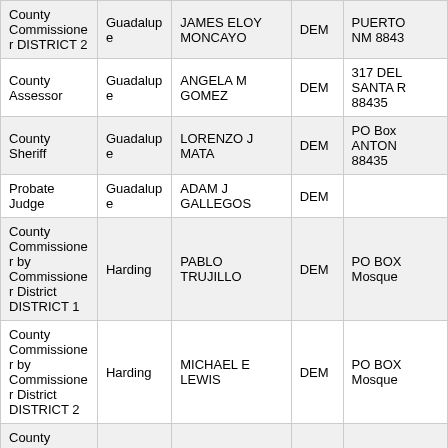| Office | County | Candidate | Party | Address |
| --- | --- | --- | --- | --- |
| County Commissioner DISTRICT 2 | Guadalupe | JAMES ELOY MONCAYO | DEM | PUERTO NM 8843 |
| County Assessor | Guadalupe | ANGELA M GOMEZ | DEM | 317 DEL SANTA R 88435 |
| County Sheriff | Guadalupe | LORENZO J MATA | DEM | PO Box ANTON 88435 |
| Probate Judge | Guadalupe | ADAM J GALLEGOS | DEM |  |
| County Commissioner by Commissioner District DISTRICT 1 | Harding | PABLO TRUJILLO | DEM | PO BOX Mosque |
| County Commissioner by Commissioner District DISTRICT 2 | Harding | MICHAEL E LEWIS | DEM | PO BOX Mosque |
| County Commissioner by Commissioner District | Harding | JAMES EDWARD HERRON | REP | 44 CEME ROY NM |